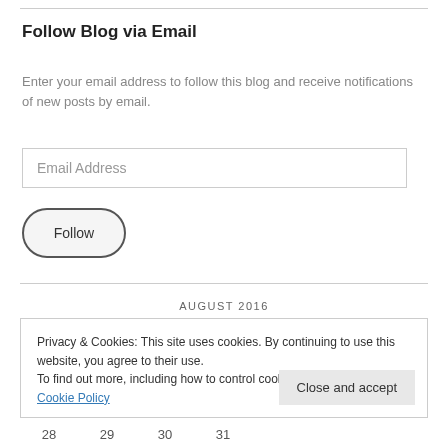Follow Blog via Email
Enter your email address to follow this blog and receive notifications of new posts by email.
Email Address
Follow
AUGUST 2016
Privacy & Cookies: This site uses cookies. By continuing to use this website, you agree to their use.
To find out more, including how to control cookies, see here: Our Cookie Policy
Close and accept
28   29   30   31